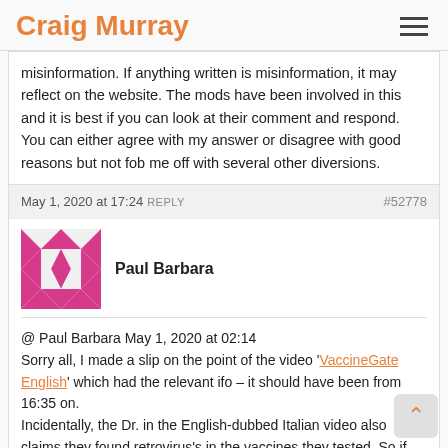Craig Murray
misinformation. If anything written is misinformation, it may reflect on the website. The mods have been involved in this and it is best if you can look at their comment and respond. You can either agree with my answer or disagree with good reasons but not fob me off with several other diversions.
May 1, 2020 at 17:24 REPLY #52778
Paul Barbara
@ Paul Barbara May 1, 2020 at 02:14
Sorry all, I made a slip on the point of the video 'VaccineGate English' which had the relevant ifo – it should have been from 16:35 on.
Incidentally, the Dr. in the English-dubbed Italian video also claims they found retrovirus's in the vaccines they tested. So if they are